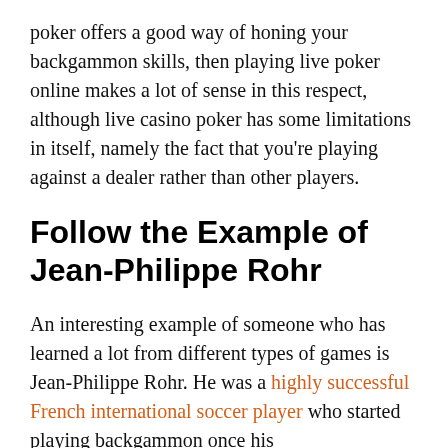poker offers a good way of honing your backgammon skills, then playing live poker online makes a lot of sense in this respect, although live casino poker has some limitations in itself, namely the fact that you're playing against a dealer rather than other players.
Follow the Example of Jean-Philippe Rohr
An interesting example of someone who has learned a lot from different types of games is Jean-Philippe Rohr. He was a highly successful French international soccer player who started playing backgammon once his